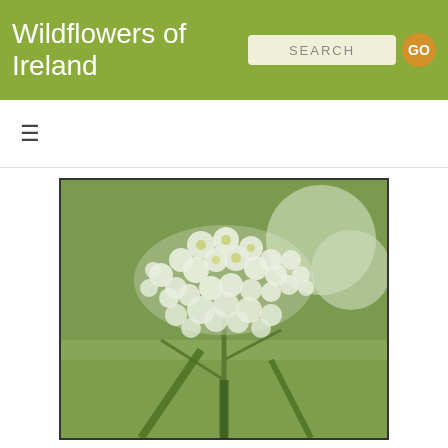Wildflowers of Ireland
[Figure (photo): Close-up photograph of white wildflowers (umbellifer/cow parsley type) with green stems against a blurred green background. The flower head consists of many tiny white clustered florets with yellow-green centres, typical of the carrot family (Apiaceae).]